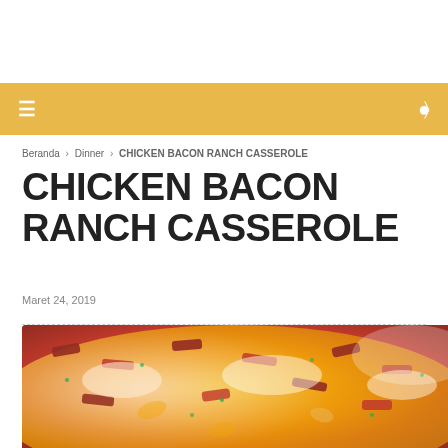CHICKEN BACON RANCH CASSEROLE
Beranda > Dinner > CHICKEN BACON RANCH CASSEROLE
Maret 24, 2019
[Figure (photo): Photo of chicken bacon ranch casserole in a white baking dish, showing melted cheese, bacon pieces, and herbs on top of pasta]